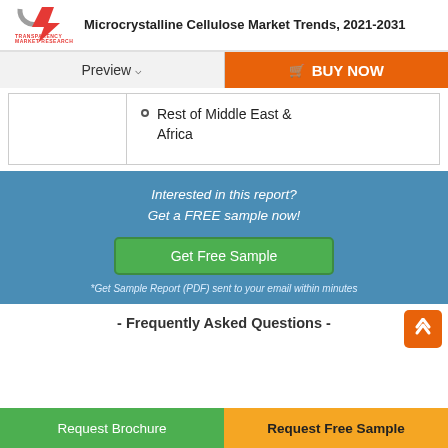Transparency Market Research | Microcrystalline Cellulose Market Trends, 2021-2031
Preview | BUY NOW
Rest of Middle East & Africa
Interested in this report? Get a FREE sample now!
Get Free Sample
*Get Sample Report (PDF) sent to your email within minutes
- Frequently Asked Questions -
Request Brochure
Request Free Sample